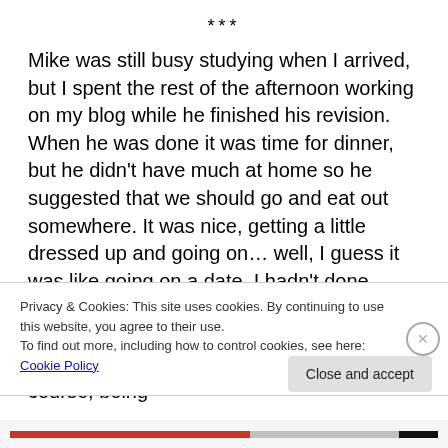***
Mike was still busy studying when I arrived, but I spent the rest of the afternoon working on my blog while he finished his revision. When he was done it was time for dinner, but he didn't have much at home so he suggested that we should go and eat out somewhere. It was nice, getting a little dressed up and going on… well, I guess it was like going on a date. I hadn't done anything quite like that in a while, but Mike was such a gentleman that I don't think I could have said no if I'd wanted to – but of course, being
Privacy & Cookies: This site uses cookies. By continuing to use this website, you agree to their use.
To find out more, including how to control cookies, see here: Cookie Policy